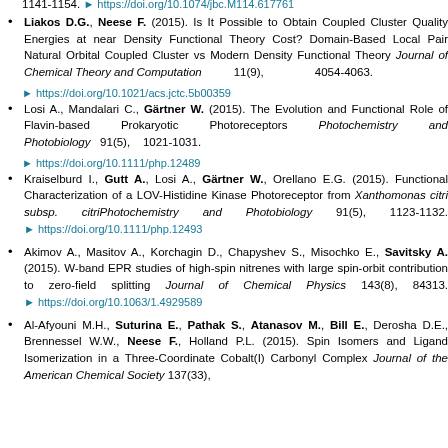1141-1154. https://doi.org/10.1074/jbc.M114.617761
Liakos D.G., Neese F. (2015). Is It Possible to Obtain Coupled Cluster Quality Energies at near Density Functional Theory Cost? Domain-Based Local Pair Natural Orbital Coupled Cluster vs Modern Density Functional Theory Journal of Chemical Theory and Computation 11(9), 4054-4063. https://doi.org/10.1021/acs.jctc.5b00359
Losi A., Mandalari C., Gärtner W. (2015). The Evolution and Functional Role of Flavin-based Prokaryotic Photoreceptors Photochemistry and Photobiology 91(5), 1021-1031. https://doi.org/10.1111/php.12489
Kraiselburd I., Gutt A., Losi A., Gärtner W., Orellano E.G. (2015). Functional Characterization of a LOV-Histidine Kinase Photoreceptor from Xanthomonas citri subsp. citriPhotochemistry and Photobiology 91(5), 1123-1132. https://doi.org/10.1111/php.12493
Akimov A., Masitov A., Korchagin D., Chapyshev S., Misochko E., Savitsky A. (2015). W-band EPR studies of high-spin nitrenes with large spin-orbit contribution to zero-field splitting Journal of Chemical Physics 143(8), 84313. https://doi.org/10.1063/1.4929589
Al-Afyouni M.H., Suturina E., Pathak S., Atanasov M., Bill E., Derosha D.E., Brennessel W.W., Neese F., Holland P.L. (2015). Spin Isomers and Ligand Isomerization in a Three-Coordinate Cobalt(I) Carbonyl Complex Journal of the American Chemical Society 137(33),